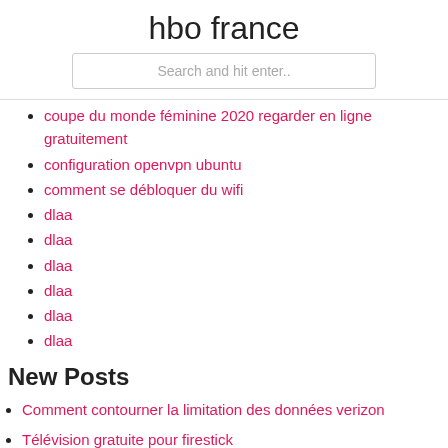hbo france
Search and hit enter..
coupe du monde féminine 2020 regarder en ligne gratuitement
configuration openvpn ubuntu
comment se débloquer du wifi
dlaa
dlaa
dlaa
dlaa
dlaa
dlaa
New Posts
Comment contourner la limitation des données verizon
Télévision gratuite pour firestick
Films sur le placenta